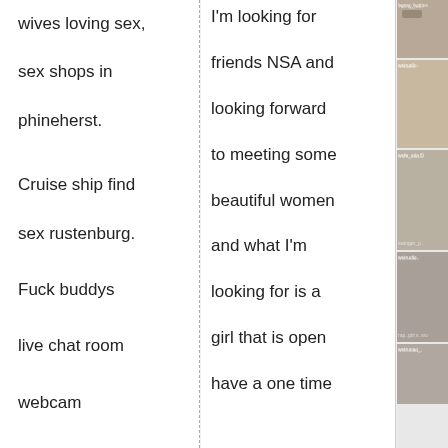wives loving sex,
sex shops in
phineherst.
Cruise ship find
sex rustenburg.
Fuck buddys
live chat room
webcam
charllotte.
I'm looking for friends NSA and looking forward to meeting some beautiful women and what I'm looking for is a girl that is open have a one time
[Figure (photo): Thumbnail image 1]
[Figure (photo): Thumbnail image 2]
[Figure (photo): Thumbnail image 3]
[Figure (photo): Thumbnail image 4]
[Figure (photo): Thumbnail image 5]